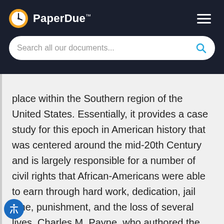PaperDue™
place within the Southern region of the United States. Essentially, it provides a case study for this epoch in American history that was centered around the mid-20th Century and is largely responsible for a number of civil rights that African-Americans were able to earn through hard work, dedication, jail time, punishment, and the loss of several lives. Charles M. Payne, who authored the work, provides an analytical glimpse of a number of factors regarding this struggle that deconstructs this time period through several different lenses, and notes the involvement of